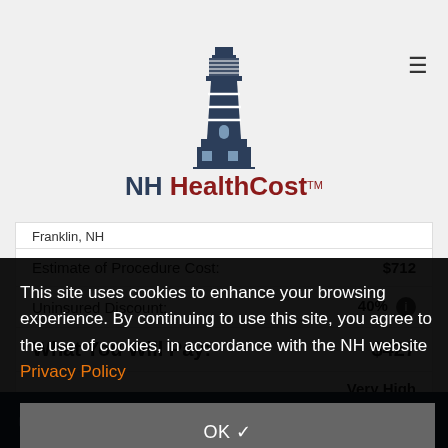[Figure (logo): NH HealthCost lighthouse logo with text]
Franklin, NH
| Estimate of Procedure Cost: | $712 |
| Uninsured Discount: | 40% |
| What You Will Pay: | $427 |
|  | Very High |
This site uses cookies to enhance your browsing experience. By continuing to use this site, you agree to the use of cookies, in accordance with the NH website Privacy Policy
OK ✓
Wolfeboro, NH
COMPARE SELECTED   Search